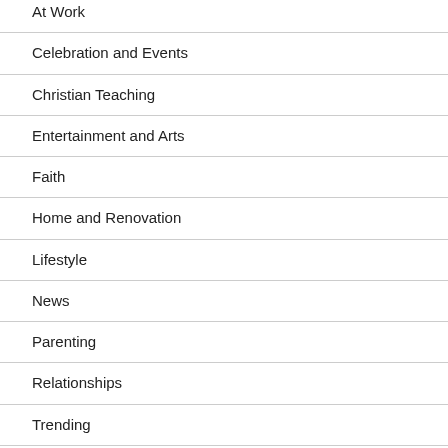At Work
Celebration and Events
Christian Teaching
Entertainment and Arts
Faith
Home and Renovation
Lifestyle
News
Parenting
Relationships
Trending
Uncategorized